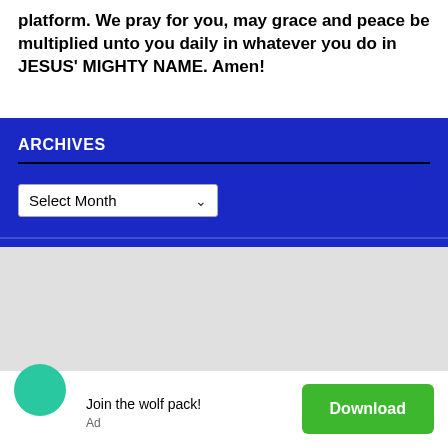platform. We pray for you, may grace and peace be multiplied unto you daily in whatever you do in JESUS' MIGHTY NAME. Amen!
ARCHIVES
[Figure (screenshot): A dropdown select box showing 'Select Month' with a chevron arrow, on a blue background]
[Figure (screenshot): Gray area representing a map or ad space, with a teal circle icon, 'Join the wolf pack!' text, 'Ad' label, and a green Download button]